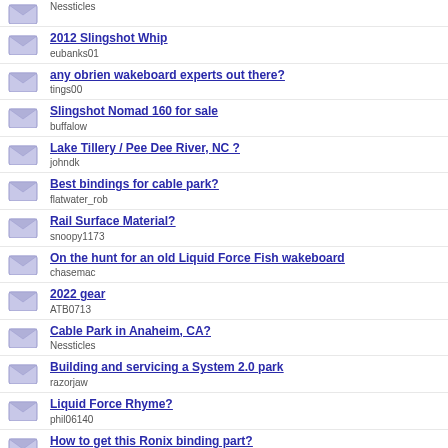Nessticles
2012 Slingshot Whip
eubanks01
any obrien wakeboard experts out there?
tings00
Slingshot Nomad 160 for sale
buffalow
Lake Tillery / Pee Dee River, NC ?
johndk
Best bindings for cable park?
flatwater_rob
Rail Surface Material?
snoopy1173
On the hunt for an old Liquid Force Fish wakeboard
chasemac
2022 gear
ATB0713
Cable Park in Anaheim, CA?
Nessticles
Building and servicing a System 2.0 park
razorjaw
Liquid Force Rhyme?
phil06140
How to get this Ronix binding part?
dwagens